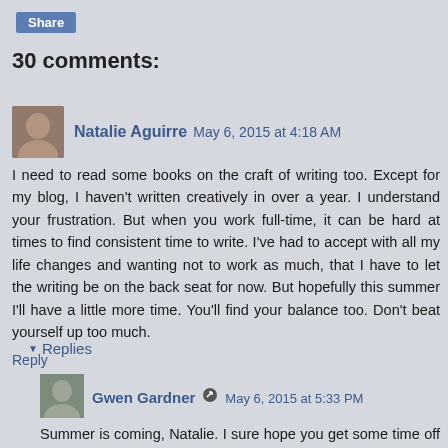Share
30 comments:
Natalie Aguirre May 6, 2015 at 4:18 AM
I need to read some books on the craft of writing too. Except for my blog, I haven't written creatively in over a year. I understand your frustration. But when you work full-time, it can be hard at times to find consistent time to write. I've had to accept with all my life changes and wanting not to work as much, that I have to let the writing be on the back seat for now. But hopefully this summer I'll have a little more time. You'll find your balance too. Don't beat yourself up too much.
Reply
Replies
Gwen Gardner May 6, 2015 at 5:33 PM
Summer is coming, Natalie. I sure hope you get some time off to write (((hugs))).